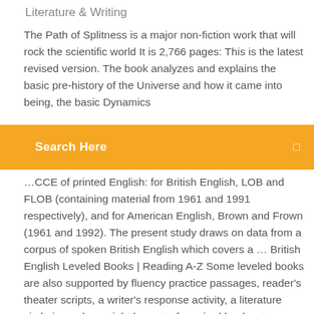Literature & Writing
The Path of Splitness is a major non-fiction work that will rock the scientific world It is 2,766 pages: This is the latest revised version. The book analyzes and explains the basic pre-history of the Universe and how it came into being, the basic Dynamics
Search Here
...CCE of printed English: for British English, LOB and FLOB (containing material from 1961 and 1991 respectively), and for American English, Brown and Frown (1961 and 1992). The present study draws on data from a corpus of spoken British English which covers a … British English Leveled Books | Reading A-Z Some leveled books are also supported by fluency practice passages, reader's theater scripts, a writer's response activity, a literature circle journal, or might be part of a paired book set or other collection.. ALL the resources that support a book can be found on its home page. Learning English through